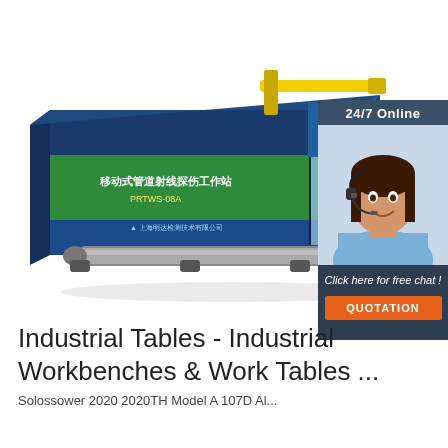[Figure (engineering-diagram): 3D rendering of a mobile pipeline radiographic inspection workstation — a large green/dark blue shipping container-style unit with Chinese text labeling ('移动式管道射线探伤工作站 PRTWS-08A'), a yellow crane arm extending from the top, a long grey pipe passing through the unit, and a company logo. Overlaid in the top-right corner is a customer-chat widget showing '24/7 Online', a photo of a woman with a headset, 'Click here for free chat!', and an orange 'QUOTATION' button.]
Industrial Tables - Industrial Workbenches & Work Tables ...
Solossower 2020 2020TH Model A 107D Al...